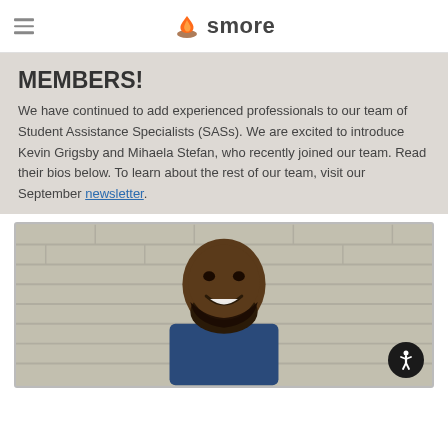smore
MEMBERS!
We have continued to add experienced professionals to our team of Student Assistance Specialists (SASs). We are excited to introduce Kevin Grigsby and Mihaela Stefan, who recently joined our team. Read their bios below. To learn about the rest of our team, visit our September newsletter.
[Figure (photo): Headshot photo of a smiling bald man with a beard, standing in front of a light-colored brick wall]